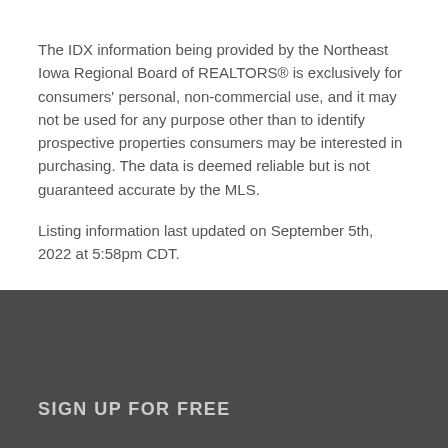The IDX information being provided by the Northeast Iowa Regional Board of REALTORS® is exclusively for consumers' personal, non-commercial use, and it may not be used for any purpose other than to identify prospective properties consumers may be interested in purchasing. The data is deemed reliable but is not guaranteed accurate by the MLS.
Listing information last updated on September 5th, 2022 at 5:58pm CDT.
SIGN UP FOR FREE